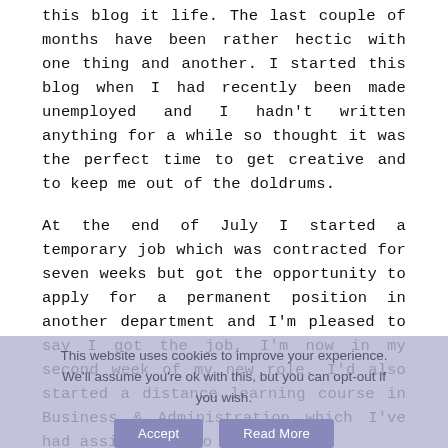this blog it life. The last couple of months have been rather hectic with one thing and another. I started this blog when I had recently been made unemployed and I hadn't written anything for a while so thought it was the perfect time to get creative and to keep me out of the doldrums.
At the end of July I started a temporary job which was contracted for seven weeks but got the opportunity to apply for a permanent position in another department and I'm pleased to say I got the job, I'm now in my second week of my new role. I'd also started a distance learning course in Business & Administration which I've had assignments to hand in.
This website uses cookies to improve your experience. We'll assume you're ok with this, but you can opt-out if you wish.